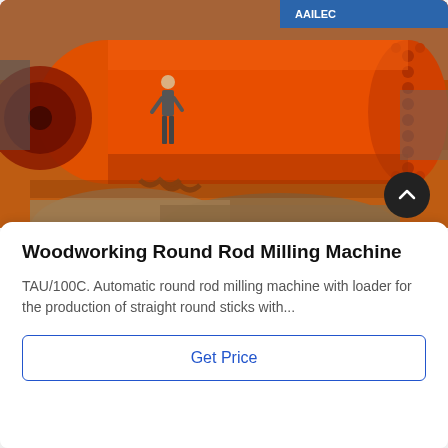[Figure (photo): Industrial factory scene showing a large orange cylindrical ball mill / rod milling machine with flanged ends. A worker stands beside the machine for scale. Additional large cylindrical metal components lie in the foreground on the red-painted factory floor.]
Woodworking Round Rod Milling Machine
TAU/100C. Automatic round rod milling machine with loader for the production of straight round sticks with...
Get Price